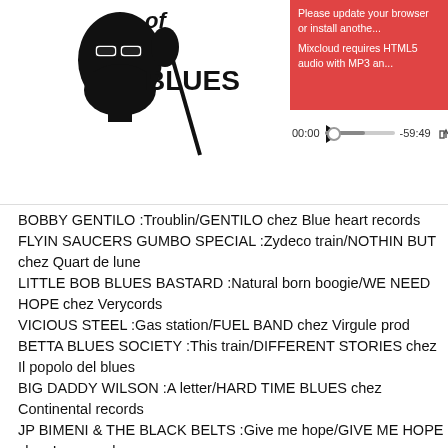[Figure (screenshot): Mixcloud audio player screenshot with a blues show logo (bearded man with microphone and text 'BLUES'), a red error bar saying 'Please update your browser or install another plugin. Mixcloud requires HTML5 audio with MP3 and...', and playback controls showing 00:00 and -59:49.]
BOBBY GENTILO :Troublin/GENTILO chez Blue heart records
FLYIN SAUCERS GUMBO SPECIAL :Zydeco train/NOTHIN BUT chez Quart de lune
LITTLE BOB BLUES BASTARD :Natural born boogie/WE NEED HOPE chez Verycords
VICIOUS STEEL :Gas station/FUEL BAND chez Virgule prod
BETTA BLUES SOCIETY :This train/DIFFERENT STORIES chez Il popolo del blues
BIG DADDY WILSON :A letter/HARD TIME BLUES chez Continental records
JP BIMENI & THE BLACK BELTS :Give me hope/GIVE ME HOPE chez Lovemonk
B.B. BLUES since 1988 :Je rêve/B.B. BLUES since 1988 chez Self
JOHNNY B. MOORE :Stood down baby/TROUBLED WORLD chez